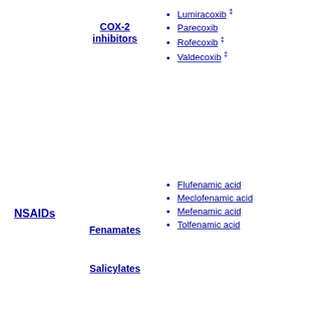NSAIDs
COX-2 inhibitors
Lumiracoxib ‡
Parecoxib
Rofecoxib ‡
Valdecoxib ‡
Fenamates
Flufenamic acid
Meclofenamic acid
Mefenamic acid
Tolfenamic acid
Salicylates
Aspirin (acetylsalicylic acid)# (+paracetamol/caffeine)
Aloxiprin
Benorylate
Carbasalate calcium
Choline salicylate
Diflunisal
Dipyrocetyl
Ethenzamide
Guacetisal
Imidazole salicylate
Magnesium salicylate
Morpholine salicylate
Potassium salicylate